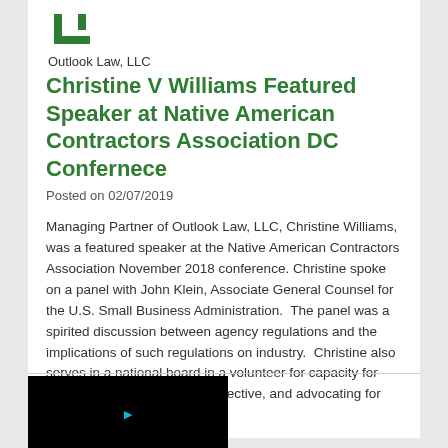[Figure (logo): Outlook Law LLC logo — green angular bracket/L-shape icon]
Outlook Law, LLC
Christine V Williams Featured Speaker at Native American Contractors Association DC Confernece
Posted on 02/07/2019
Managing Partner of Outlook Law, LLC, Christine Williams, was a featured speaker at the Native American Contractors Association November 2018 conference. Christine spoke on a panel with John Klein, Associate General Counsel for the U.S. Small Business Administration.  The panel was a spirited discussion between agency regulations and the implications of such regulations on industry.  Christine also serves in a national board in a volunteer for capacity for SBA, giving the industry perspective, and advocating for positive changes.
[Figure (screenshot): Dark/black video thumbnail image at the bottom of the page]